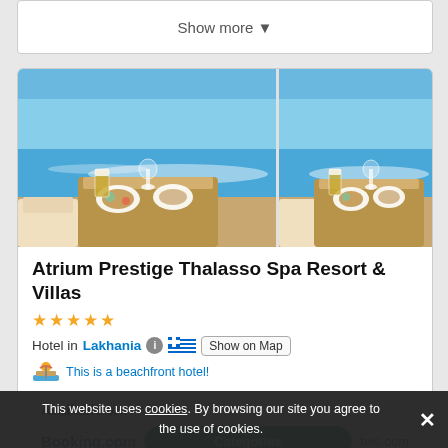Show more ▾
[Figure (photo): Two beach/poolside photos showing food and drinks on a table with ocean view, sunbeds visible]
Atrium Prestige Thalasso Spa Resort & Villas
★★★★★
Hotel in Lakhania  ℹ  🇬🇷  Show on Map
This is a beachfront hotel!
Available on:
Booking.com   Categories   tels.com
This website uses cookies. By browsing our site you agree to the use of cookies.